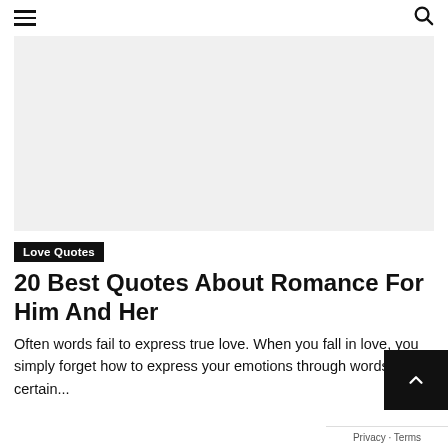≡  🔍
[Figure (other): Gray rectangular advertisement banner placeholder]
Love Quotes
20 Best Quotes About Romance For Him And Her
Often words fail to express true love. When you fall in love, you simply forget how to express your emotions through words. certain...